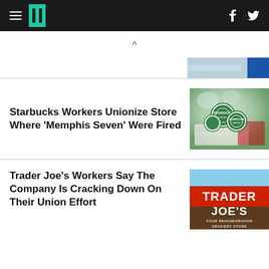HuffPost navigation with hamburger menu, logo, Facebook and Twitter icons
[Figure (screenshot): Small partial image of a banner/advertisement, partially visible at the right side]
Starbucks Workers Unionize Store Where ‘Memphis Seven’ Were Fired
[Figure (photo): Photo of Starbucks union button badges and papers on a table]
Trader Joe’s Workers Say The Company Is Cracking Down On Their Union Effort
[Figure (photo): Photo of a Trader Joe's store sign reading TRADER JOE'S YOUR NEIGHBORHOOD GROCERY STORE against a blue sky]